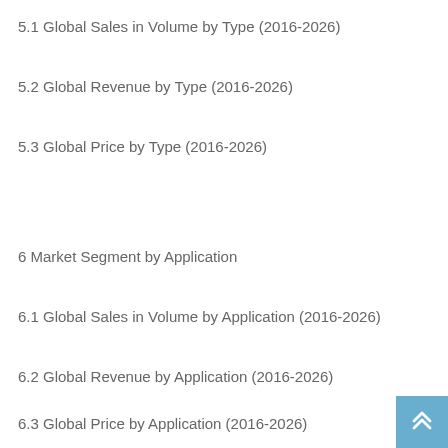5.1 Global Sales in Volume by Type (2016-2026)
5.2 Global Revenue by Type (2016-2026)
5.3 Global Price by Type (2016-2026)
6 Market Segment by Application
6.1 Global Sales in Volume by Application (2016-2026)
6.2 Global Revenue by Application (2016-2026)
6.3 Global Price by Application (2016-2026)